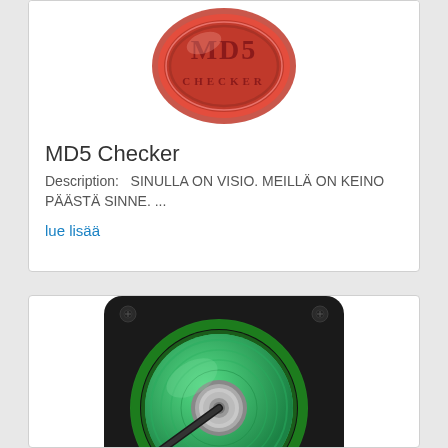[Figure (logo): MD5 logo - red embossed seal/stamp with MD5 text]
MD5 Checker
Description:   SINULLA ON VISIO. MEILLÄ ON KEINO PÄÄSTÄ SINNE. ...
lue lisää
[Figure (illustration): Hard drive disk icon with green platter and metallic spindle on black background]